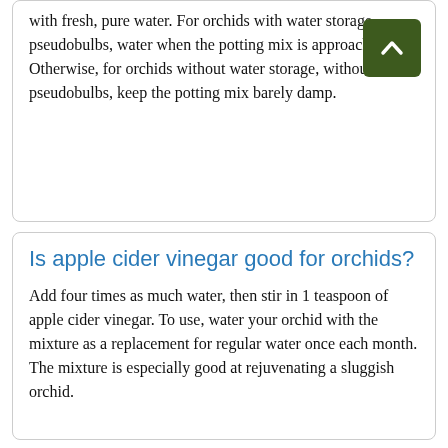with fresh, pure water. For orchids with water storage, pseudobulbs, water when the potting mix is approaching d… Otherwise, for orchids without water storage, without pseudobulbs, keep the potting mix barely damp.
Is apple cider vinegar good for orchids?
Add four times as much water, then stir in 1 teaspoon of apple cider vinegar. To use, water your orchid with the mixture as a replacement for regular water once each month. The mixture is especially good at rejuvenating a sluggish orchid.
Is it OK to put orchids outside in the summer?
Yes, it's fine to put your orchids outside in summer but… Summer is growing season for some types of orchids after… It's important to understand that in their natural habitat, wild…